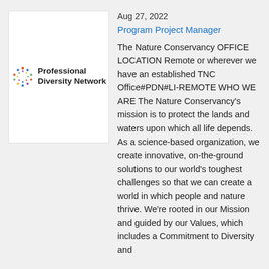[Figure (logo): Professional Diversity Network logo with circular dot pattern icon and bold text]
Aug 27, 2022
Program Project Manager
The Nature Conservancy OFFICE LOCATION Remote or wherever we have an established TNC Office#PDN#LI-REMOTE WHO WE ARE The Nature Conservancy's mission is to protect the lands and waters upon which all life depends. As a science-based organization, we create innovative, on-the-ground solutions to our world's toughest challenges so that we can create a world in which people and nature thrive. We're rooted in our Mission and guided by our Values, which includes a Commitment to Diversity and